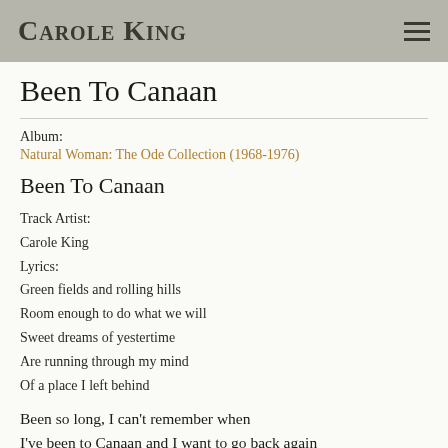Carole King
Been To Canaan
Album:
Natural Woman: The Ode Collection (1968-1976)
Been To Canaan
Track Artist:
Carole King
Lyrics:
Green fields and rolling hills
Room enough to do what we will
Sweet dreams of yestertime
Are running through my mind
Of a place I left behind
Been so long, I can't remember when
I've been to Canaan and I want to go back again
Been so long, I'm living till then